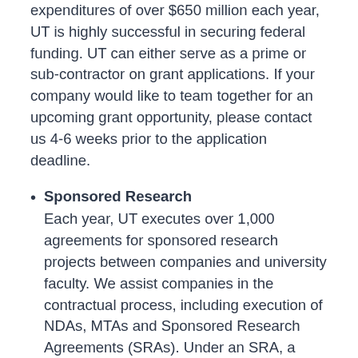expenditures of over $650 million each year, UT is highly successful in securing federal funding. UT can either serve as a prime or sub-contractor on grant applications. If your company would like to team together for an upcoming grant opportunity, please contact us 4-6 weeks prior to the application deadline.
Sponsored Research
Each year, UT executes over 1,000 agreements for sponsored research projects between companies and university faculty. We assist companies in the contractual process, including execution of NDAs, MTAs and Sponsored Research Agreements (SRAs). Under an SRA, a statement of work, budget, milestones, IP terms and publication rights are all defined. Please contact us if you would like to collaborate with the nearest faculty in the...